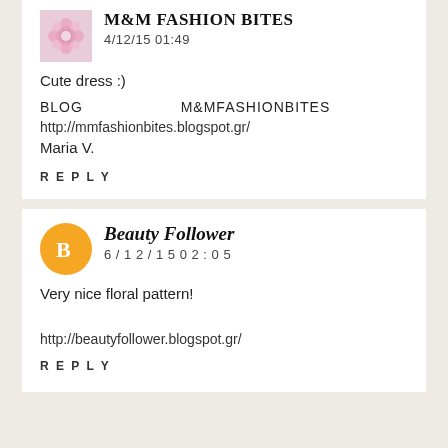M&M FASHION BITES
4/12/15  01:49
Cute dress :)
BLOG                    M&MFASHIONBITES                         :
http://mmfashionbites.blogspot.gr/
Maria V.
REPLY
Beauty Follower
6/12/15  02:05
Very nice floral pattern!
http://beautyfollower.blogspot.gr/
REPLY